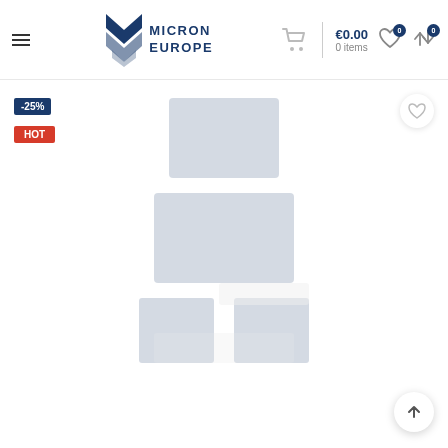Micron Europe — €0.00 0 items
[Figure (screenshot): E-commerce product page screenshot showing Micron Europe website header with logo, shopping cart showing €0.00 and 0 items, hamburger menu, wishlist and compare icons. Below the header is a product area with a -25% discount badge, HOT badge, a wishlist heart button, a faded product image placeholder, and a back-to-top arrow button.]